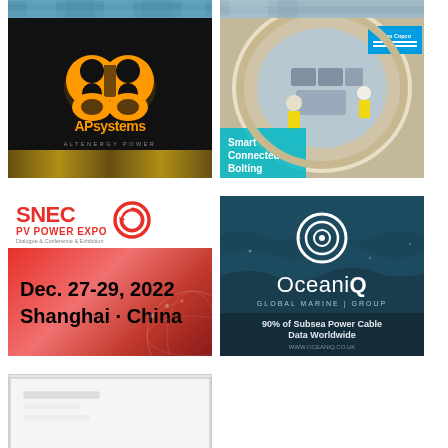[Figure (photo): Partial top image - solar panels, left column]
[Figure (photo): Partial top image - offshore wind or marine, right column]
[Figure (logo): APsystems ALTENERGY POWER advertisement with orange logo on black background]
[Figure (photo): Atlas Copco Smart Connected Bolting advertisement showing workers inside wind turbine tower with bolting equipment]
[Figure (infographic): SNEC PV Power Expo advertisement - Dec. 27-29, 2022, Shanghai, China]
[Figure (logo): OceaniQ Global Marine Group advertisement - 90% of Subsea Power Cable Data Worldwide, www.oceaniq.co.uk]
[Figure (photo): Partial bottom-left advertisement, partially visible]